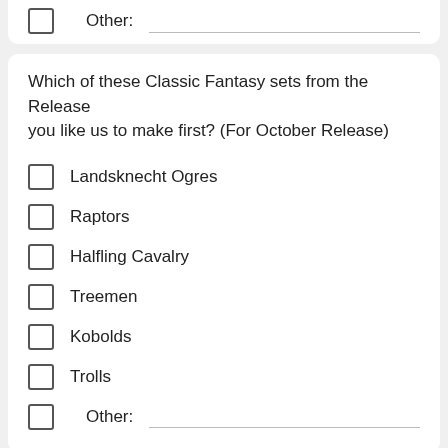Other:
Which of these Classic Fantasy sets from the Release you like us to make first? (For October Release)
Landsknecht Ogres
Raptors
Halfling Cavalry
Treemen
Kobolds
Trolls
Other: